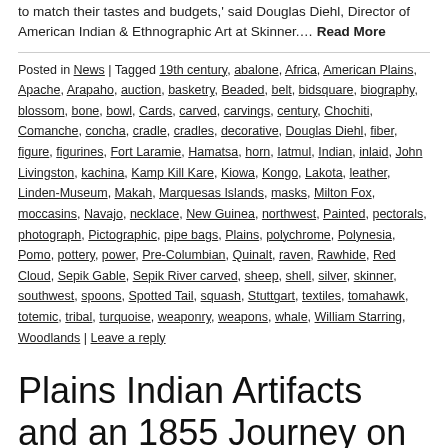to match their tastes and budgets,' said Douglas Diehl, Director of American Indian & Ethnographic Art at Skinner.… Read More
Posted in News | Tagged 19th century, abalone, Africa, American Plains, Apache, Arapaho, auction, basketry, Beaded, belt, bidsquare, biography, blossom, bone, bowl, Cards, carved, carvings, century, Chochiti, Comanche, concha, cradle, cradles, decorative, Douglas Diehl, fiber, figure, figurines, Fort Laramie, Hamatsa, horn, Iatmul, Indian, inlaid, John Livingston, kachina, Kamp Kill Kare, Kiowa, Kongo, Lakota, leather, Linden-Museum, Makah, Marquesas Islands, masks, Milton Fox, moccasins, Navajo, necklace, New Guinea, northwest, Painted, pectorals, photograph, Pictographic, pipe bags, Plains, polychrome, Polynesia, Pomo, pottery, power, Pre-Columbian, Quinalt, raven, Rawhide, Red Cloud, Sepik Gable, Sepik River carved, sheep, shell, silver, skinner, southwest, spoons, Spotted Tail, squash, Stuttgart, textiles, tomahawk, totemic, tribal, turquoise, weaponry, weapons, whale, William Starring, Woodlands | Leave a reply
Plains Indian Artifacts and an 1855 Journey on the Oregon Trail